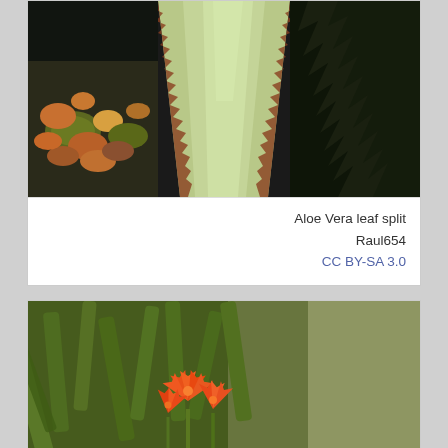[Figure (photo): Close-up photo of an Aloe Vera leaf split open, showing the pale green inner gel. The leaf has serrated red-tipped edges. Surrounding the main leaf are other succulents with reddish-green coloring on the left and dark serrated succulent on the right.]
Aloe Vera leaf split
Raul654
CC BY-SA 3.0
[Figure (photo): Photo of an aloe or succulent plant with long green leaves and orange-red flower blooms visible at the bottom center of the image. Background is soft-focused green foliage.]